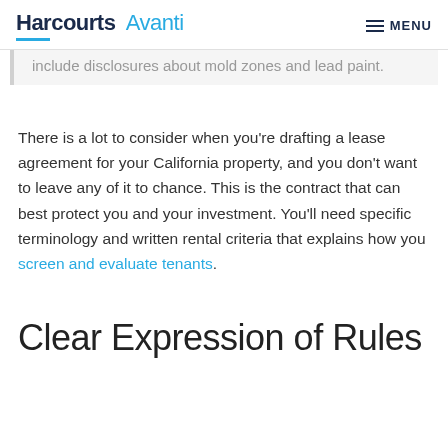Harcourts Avanti  MENU
include disclosures about mold zones and lead paint.
There is a lot to consider when you’re drafting a lease agreement for your California property, and you don’t want to leave any of it to chance. This is the contract that can best protect you and your investment. You’ll need specific terminology and written rental criteria that explains how you screen and evaluate tenants.
Clear Expression of Rules